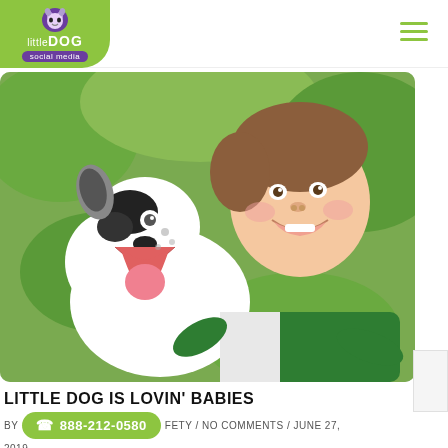Little Dog Social Media — navigation header with logo and hamburger menu
[Figure (photo): A smiling young boy in a green and white baseball shirt hugging a black and white dog with mouth open, outdoors with green foliage background]
LITTLE DOG IS LOVIN' BABIES
BY [phone badge: 888-212-0580] FETY / NO COMMENTS / JUNE 27, 2019